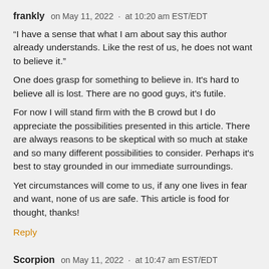frankly   on May 11, 2022  ·  at 10:20 am EST/EDT
“I have a sense that what I am about say this author already understands. Like the rest of us, he does not want to believe it.”
One does grasp for something to believe in. It’s hard to believe all is lost. There are no good guys, it’s futile.
For now I will stand firm with the B crowd but I do appreciate the possibilities presented in this article. There are always reasons to be skeptical with so much at stake and so many different possibilities to consider. Perhaps it’s best to stay grounded in our immediate surroundings.
Yet circumstances will come to us, if any one lives in fear and want, none of us are safe. This article is food for thought, thanks!
Reply
Scorpion   on May 11, 2022  ·  at 10:47 am EST/EDT
Meanwhile, a parallel thesis to yours, Rasputin, this from Matthew Ehret promoting his latest book: